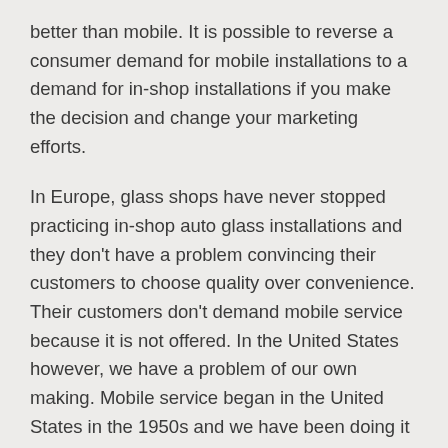better than mobile. It is possible to reverse a consumer demand for mobile installations to a demand for in-shop installations if you make the decision and change your marketing efforts.
In Europe, glass shops have never stopped practicing in-shop auto glass installations and they don't have a problem convincing their customers to choose quality over convenience. Their customers don't demand mobile service because it is not offered. In the United States however, we have a problem of our own making. Mobile service began in the United States in the 1950s and we have been doing it ever since. Even with the introduction of moisture curing polyurethane, larger glass parts, one-man sets and now ADAS, we still feel that if we don't provide mobile service we will not succeed.